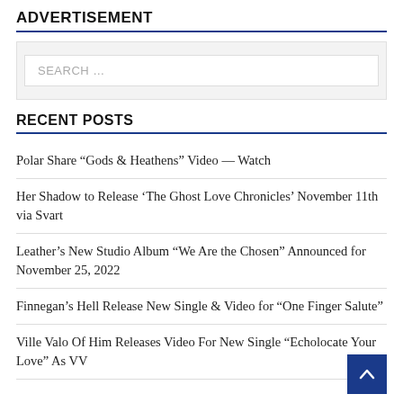ADVERTISEMENT
[Figure (other): Search box area with gray background]
RECENT POSTS
Polar Share “Gods & Heathens” Video — Watch
Her Shadow to Release ‘The Ghost Love Chronicles’ November 11th via Svart
Leather’s New Studio Album “We Are the Chosen” Announced for November 25, 2022
Finnegan’s Hell Release New Single & Video for “One Finger Salute”
Ville Valo Of Him Releases Video For New Single “Echolocate Your Love” As VV